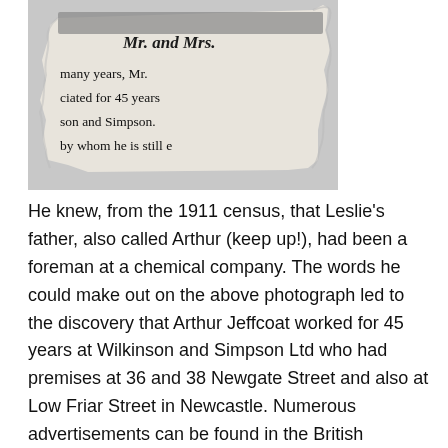[Figure (photo): A torn newspaper clipping showing partial text in bold serif font: 'Mr. and Mrs.' at the top, then 'many years, Mr.' / 'ciated for 45 years' / 'son and Simpson.' / 'by whom he is still e'. The clipping is mounted on a gray/white background and appears worn and torn.]
He knew, from the 1911 census, that Leslie's father, also called Arthur (keep up!), had been a foreman at a chemical company. The words he could make out on the above photograph led to the discovery that Arthur Jeffcoat worked for 45 years at Wilkinson and Simpson Ltd who had premises at 36 and 38 Newgate Street and also at Low Friar Street in Newcastle. Numerous advertisements can be found in the British Newspaper Archive for many and varied concoctions. One that caught our Arthur's eye was for 'Natural Health Salt' , their own version of Andrews